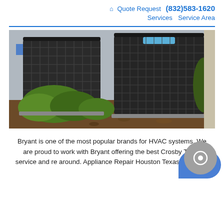🏠 Quote Request (832)583-1620 Services Service Area
[Figure (photo): Two Bryant outdoor HVAC condenser units installed outside a building, surrounded by mulch and green plants/shrubs.]
Bryant is one of the most popular brands for HVAC systems. We are proud to work with Bryant offering the best Crosby Texas service and re around. Appliance Repair Houston Texas has been